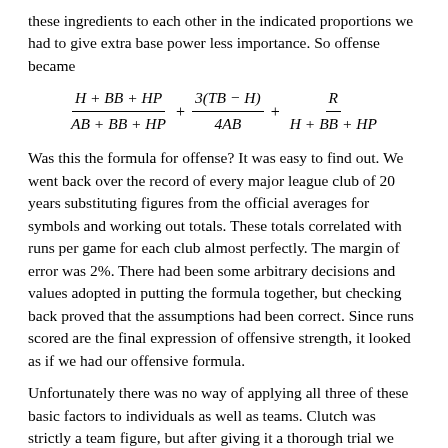these ingredients to each other in the indicated proportions we had to give extra base power less importance. So offense became
Was this the formula for offense? It was easy to find out. We went back over the record of every major league club of 20 years substituting figures from the official averages for symbols and working out totals. These totals correlated with runs per game for each club almost perfectly. The margin of error was 2%. There had been some arbitrary decisions and values adopted in putting the formula together, but checking back proved that the assumptions had been correct. Since runs scored are the final expression of offensive strength, it looked as if we had our offensive formula.
Unfortunately there was no way of applying all three of these basic factors to individuals as well as teams. Clutch was strictly a team figure, but after giving it a thorough trial we found there was still no place for RBIs in the formula. As a statistic, RBIs were not only misleading but dishonest. They depended on managerial control, a hitter's position in the batting order, park dimensions and the success of his teammates in getting on base ahead of him. That left two measurable factors—on base average and power—by which to gauge the over-all offensive worth of an individual. We applied